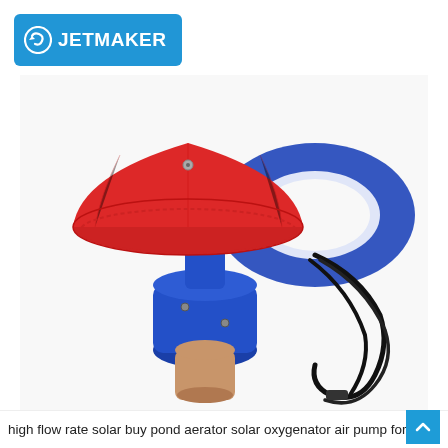[Figure (logo): JETMAKER brand logo: white text on blue rounded rectangle background with a circular arrow icon]
[Figure (photo): Product photo of a solar pond aerator / oxygenator air pump. The device has a red conical funnel-shaped top piece and a blue cylindrical body with screws, plus a blue toroidal float ring and black electrical cables/wires visible on the right side. Background is white.]
high flow rate solar buy pond aerator solar oxygenator air pump for